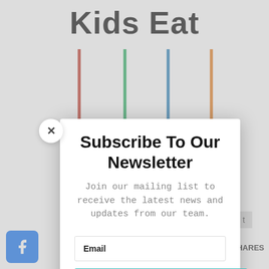Kids Eat
[Figure (photo): Colorful spoons (red, green, blue, orange) hanging against a white background]
Subscribe To Our Newsletter
Join our mailing list to receive the latest news and updates from our team.
Email
SUBSCRIBE!